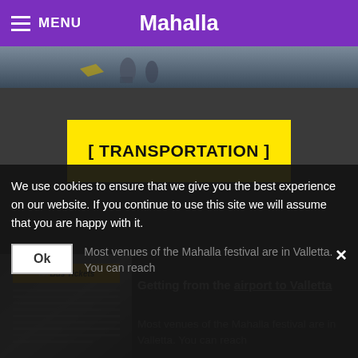MENU   Mahalla
[Figure (photo): Hero image strip showing a dark outdoor scene with figures]
[ TRANSPORTATION ]
[Figure (photo): Bus tickets sign image in lower left]
Getting from the airport to Valletta
Most venues of the Mahalla festival are in Valletta. You can reach
We use cookies to ensure that we give you the best experience on our website. If you continue to use this site we will assume that you are happy with it.